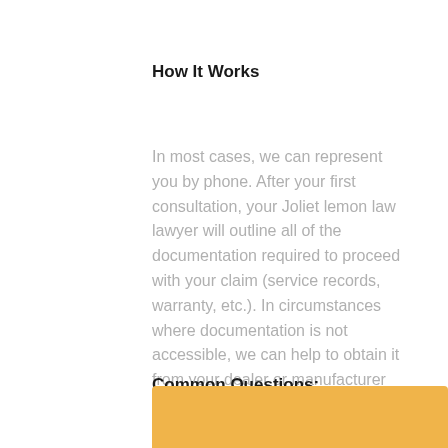How It Works
In most cases, we can represent you by phone. After your first consultation, your Joliet lemon law lawyer will outline all of the documentation required to proceed with your claim (service records, warranty, etc.). In circumstances where documentation is not accessible, we can help to obtain it from your dealer or manufacturer on your behalf. After that, we negotiate to get you the largest settlement possible.
Common Questions:
[Figure (other): Orange/yellow colored box at the bottom of the page, partially visible]